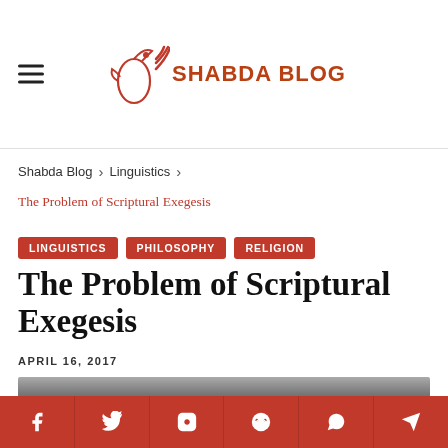SHABDA BLOG
Shabda Blog > Linguistics >
The Problem of Scriptural Exegesis
LINGUISTICS
PHILOSOPHY
RELIGION
The Problem of Scriptural Exegesis
APRIL 16, 2017
[Figure (photo): Partial view of article header image, dark background with book/text elements]
f  Twitter  Instagram  Reddit  WhatsApp  Telegram